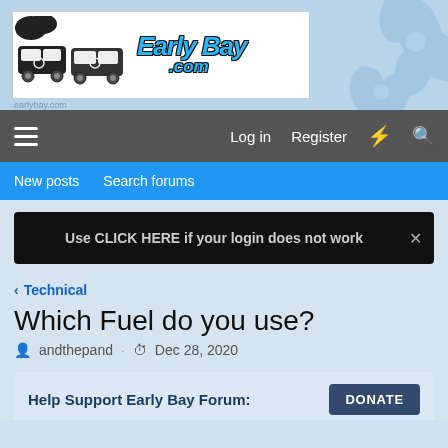[Figure (logo): Early Bay .com website logo with VW bus graphic on white background, with blue floral decorative background]
Log in  Register  ☇  🔍
New posts  Search forums
Use CLICK HERE if your login does not work
< Technical
Which Fuel do you use?
andthepand · Dec 28, 2020
Help Support Early Bay Forum:  DONATE